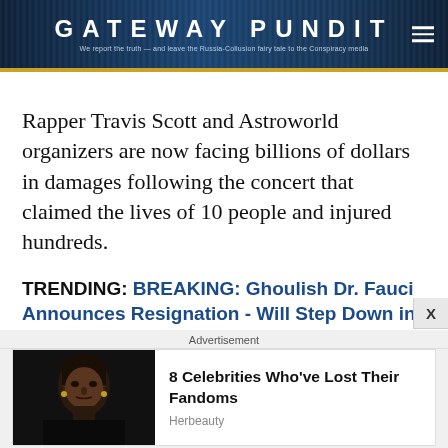GATEWAY PUNDIT — We report the truth — and leave the Russia-Collusion fairy tale to the Conspiracy media
Rapper Travis Scott and Astroworld organizers are now facing billions of dollars in damages following the concert that claimed the lives of 10 people and injured hundreds.
TRENDING: BREAKING: Ghoulish Dr. Fauci Announces Resignation - Will Step Down in December
Advertisement
[Figure (photo): Photo of a dark-haired man in black clothing]
8 Celebrities Who've Lost Their Fandoms
Herbeauty